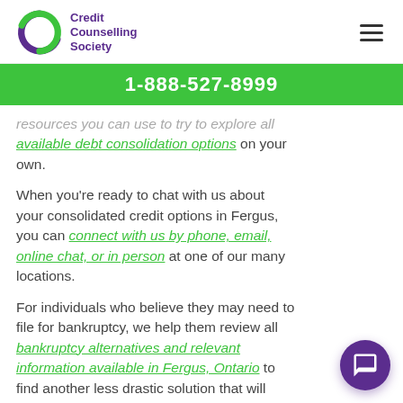Credit Counselling Society
1-888-527-8999
resources you can use to try to explore all available debt consolidation options on your own.
When you're ready to chat with us about your consolidated credit options in Fergus, you can connect with us by phone, email, online chat, or in person at one of our many locations.
For individuals who believe they may need to file for bankruptcy, we help them review all bankruptcy alternatives and relevant information available in Fergus, Ontario to find another less drastic solution that will get their finances back on track.